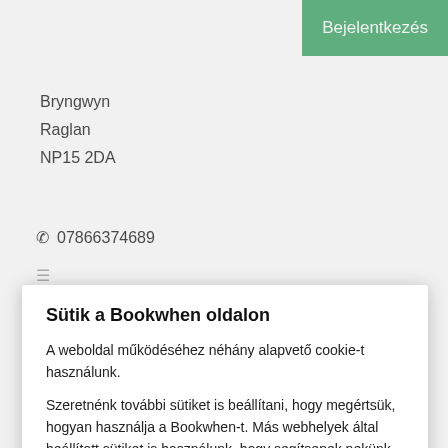Bejelentkezés
Bryngwyn
Raglan
NP15 2DA
07866374689
Sütik a Bookwhen oldalon
A weboldal működéséhez néhány alapvető cookie-t használunk.
Szeretnénk további sütiket is beállítani, hogy megértsük, hogyan használja a Bookwhen-t. Más webhelyek által beállított sütiket is használunk, hogy segítsenek nekünk az ő szolgáltatásaik tartalmát szolgáltatni.
További sütik elfogadása
Sütik kezelése